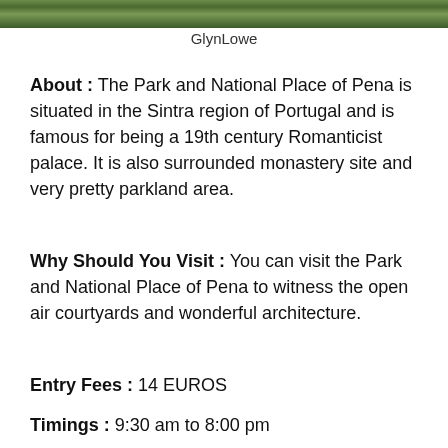[Figure (photo): Partial view of a green forested area or garden, cropped at the top of the page]
GlynLowe
About : The Park and National Place of Pena is situated in the Sintra region of Portugal and is famous for being a 19th century Romanticist palace. It is also surrounded monastery site and very pretty parkland area.
Why Should You Visit : You can visit the Park and National Place of Pena to witness the open air courtyards and wonderful architecture.
Entry Fees : 14 EUROS
Timings : 9:30 am to 8:00 pm